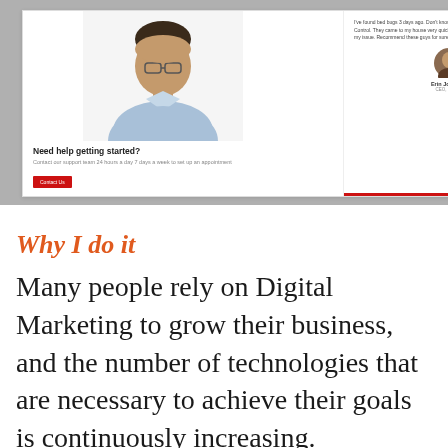[Figure (screenshot): Screenshot of a website showing a pest control or service company page. Left side shows a man in a light blue shirt with text 'Need help getting started?' and a 'Contact Us' button in red. Right side shows a testimonial with a photo of Erin Johnson (CEO, Florida) saying they found bed bugs 3 days ago and called Guardian Pest Control, who came very quickly and provided an effective solution.]
Why I do it
Many people rely on Digital Marketing to grow their business, and the number of technologies that are necessary to achieve their goals is continuously increasing.